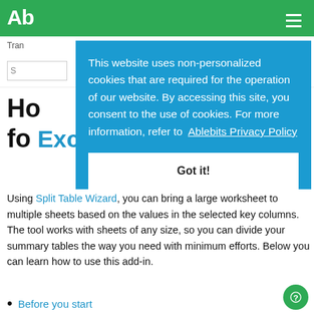Ab[lebits] - [navigation bar with search]
[Figure (screenshot): Cookie consent overlay popup with teal/blue background. Text: 'This website uses non-personalized cookies that are required for the operation of our website. By accessing this site, you consent to the use of cookies. For more information, refer to Ablebits Privacy Policy'. Button: 'Got it!']
Ho[w to split a worksheet] fo[r Excel]
Using Split Table Wizard, you can bring a large worksheet to multiple sheets based on the values in the selected key columns. The tool works with sheets of any size, so you can divide your summary tables the way you need with minimum efforts. Below you can learn how to use this add-in.
Before you start